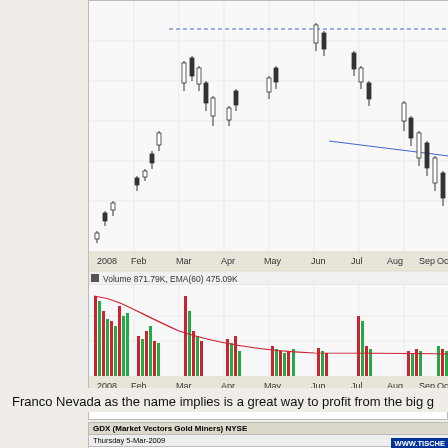[Figure (continuous-plot): Stock price candlestick chart for Franco Nevada (FNV) from 2008 through October, showing price movements with candlesticks, a dashed blue horizontal resistance line near the top, and a declining blue line. Below is a volume bar chart with red and green bars and a red EMA(60) curve. X-axis labels: 2008, Feb, Mar, Apr, May, Jun, Jul, Aug, Sep, Oct. Volume header shows: Volume 871.79K, EMA(60) 475.09K]
Franco Nevada
Franco Nevada as the name implies is a great way to profit from the big g
[Figure (screenshot): GDX (Market Vectors Gold Miners) NYSE stock data table. Thursday 5-Mar-2009. Open: 31.50, Bid: 32.90, P/E:, High: 33.06, Bid Size: 3, EPS:, Low: 31.42, Ask: 33.00, Last Ticks: up arrow, Prev Close: 31.40, Ask Size: 2, Last Size: 250. WWW.TISCHE badge visible.]